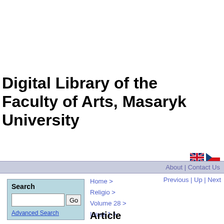Digital Library of the Faculty of Arts, Masaryk University
[Figure (illustration): UK and Czech Republic flag icons for language selection]
About | Contact Us
Home > Religio > Volume 28 > Issue 1 >
Previous | Up | Next
Search
Advanced Search
Article